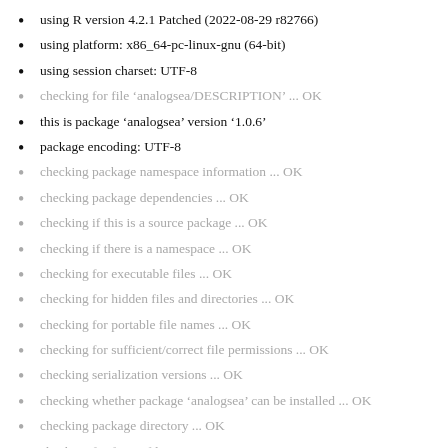using R version 4.2.1 Patched (2022-08-29 r82766)
using platform: x86_64-pc-linux-gnu (64-bit)
using session charset: UTF-8
checking for file ‘analogsea/DESCRIPTION’ ... OK
this is package ‘analogsea’ version ‘1.0.6’
package encoding: UTF-8
checking package namespace information ... OK
checking package dependencies ... OK
checking if this is a source package ... OK
checking if there is a namespace ... OK
checking for executable files ... OK
checking for hidden files and directories ... OK
checking for portable file names ... OK
checking for sufficient/correct file permissions ... OK
checking serialization versions ... OK
checking whether package ‘analogsea’ can be installed ... OK
checking package directory ... OK
checking for future file timestamps ... OK
checking DESCRIPTION meta-information ... OK
checking top-level files ... OK
checking for left-over files ... OK
checking index information ... OK
checking package subdirectories ... OK